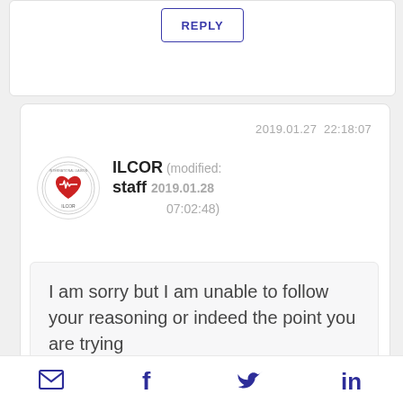REPLY
2019.01.27  22:18:07
ILCOR staff (modified: 2019.01.28 07:02:48)
I am sorry but I am unable to follow your reasoning or indeed the point you are trying
email | facebook | twitter | linkedin